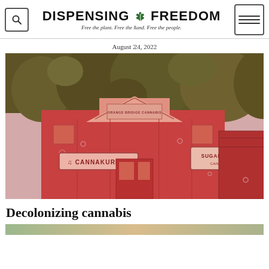DISPENSING ☘ FREEDOM — Free the plant. Free the land. Free the people.
August 24, 2022
[Figure (photo): Photo of cannabis dispensary storefronts including Cannakure and Sugar Cane dispensaries with cannabis plants in the background, rendered with a red tint.]
Decolonizing cannabis